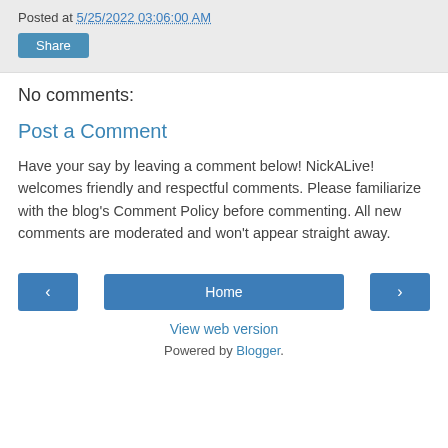Posted at 5/25/2022 03:06:00 AM
Share
No comments:
Post a Comment
Have your say by leaving a comment below! NickALive! welcomes friendly and respectful comments. Please familiarize with the blog's Comment Policy before commenting. All new comments are moderated and won't appear straight away.
‹
Home
›
View web version
Powered by Blogger.